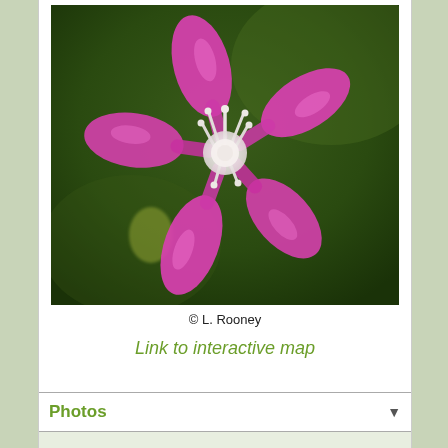[Figure (photo): Close-up macro photograph of a pink/magenta wildflower with five elongated petals radiating from a white center, against a blurred dark green background. Photo credit: L. Rooney.]
© L. Rooney
Link to interactive map
Photos